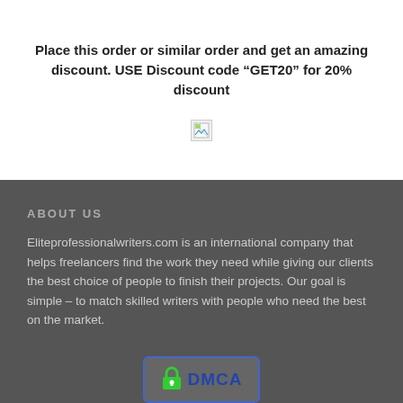Place this order or similar order and get an amazing discount. USE Discount code “GET20” for 20% discount
[Figure (illustration): Broken image icon placeholder]
ABOUT US
Eliteprofessionalwriters.com is an international company that helps freelancers find the work they need while giving our clients the best choice of people to finish their projects. Our goal is simple – to match skilled writers with people who need the best on the market.
[Figure (logo): DMCA badge with green padlock icon and blue DMCA text in a rounded rectangle border]